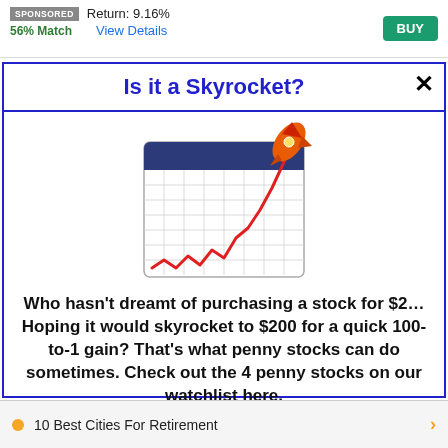SPONSORED  Return: 9.16%  56% Match  View Details  BUY
Is it a Skyrocket?
[Figure (illustration): A calendar/chart illustration showing a rising red line chart with a rocket launching upward from the chart, on a grid background with a dark blue header bar.]
Who hasn't dreamt of purchasing a stock for $2... Hoping it would skyrocket to $200 for a quick 100-to-1 gain? That's what penny stocks can do sometimes. Check out the 4 penny stocks on our watchlist here.
>>> See The List <<<
10 Best Cities For Retirement